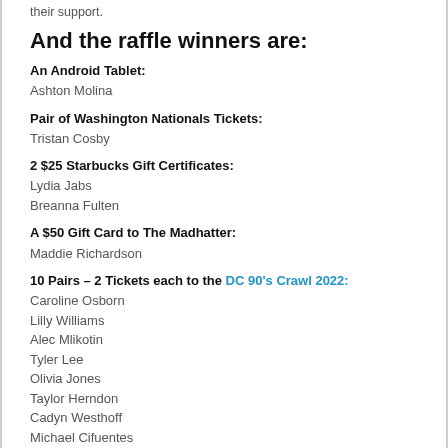their support.
And the raffle winners are:
An Android Tablet:
Ashton Molina
Pair of Washington Nationals Tickets:
Tristan Cosby
2 $25 Starbucks Gift Certificates:
Lydia Jabs
Breanna Fulten
A $50 Gift Card to The Madhatter:
Maddie Richardson
10 Pairs – 2 Tickets each to the DC 90's Crawl 2022:
Caroline Osborn
Lilly Williams
Alec Mlikotin
Tyler Lee
Olivia Jones
Taylor Herndon
Cadyn Westhoff
Michael Cifuentes
Bianca Carey
Colette Donovan